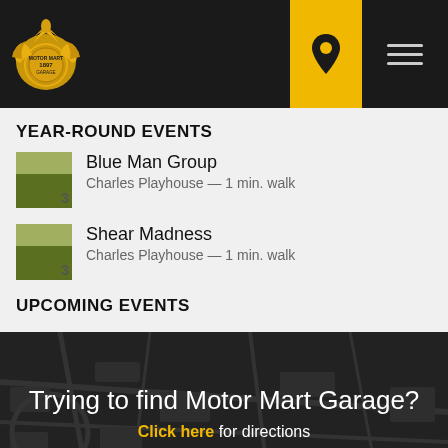[Figure (logo): Motor Mart Garage gold eagle badge logo on dark header bar with location pin icon on yellow background and hamburger menu icon]
YEAR-ROUND EVENTS
Blue Man Group — Charles Playhouse — 1 min. walk
Shear Madness — Charles Playhouse — 1 min. walk
UPCOMING EVENTS
[Figure (photo): Dark aerial map background with overlay text: Trying to find Motor Mart Garage? Click here for directions]
©2022 MotorMart Garage. All Rights Reserved. Website Design by Metropolis Creative Photography by Bill Horseman